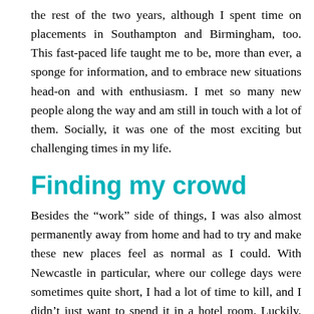the rest of the two years, although I spent time on placements in Southampton and Birmingham, too. This fast-paced life taught me to be, more than ever, a sponge for information, and to embrace new situations head-on and with enthusiasm. I met so many new people along the way and am still in touch with a lot of them. Socially, it was one of the most exciting but challenging times in my life.
Finding my crowd
Besides the “work” side of things, I was also almost permanently away from home and had to try and make these new places feel as normal as I could. With Newcastle in particular, where our college days were sometimes quite short, I had a lot of time to kill, and I didn’t just want to spend it in a hotel room. Luckily, we had been placed extremely close to the city centre, and also a vibrant, predominantly LGBT, nightlife scene just yards away.